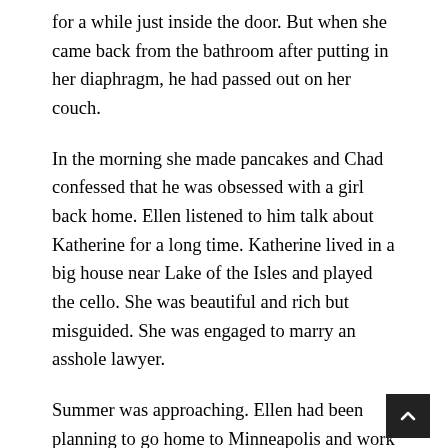for a while just inside the door. But when she came back from the bathroom after putting in her diaphragm, he had passed out on her couch.
In the morning she made pancakes and Chad confessed that he was obsessed with a girl back home. Ellen listened to him talk about Katherine for a long time. Katherine lived in a big house near Lake of the Isles and played the cello. She was beautiful and rich but misguided. She was engaged to marry an asshole lawyer.
Summer was approaching. Ellen had been planning to go home to Minneapolis and work for the Park Board, but in April she was awarded a teaching assistantship and a tuition waiver for next year. Her friends had been jabbering excitedly about their summer plans. They all seemed to be going to the seaside–Provincetown or Santa Barbara—and she felt embarrassed to say that she'd